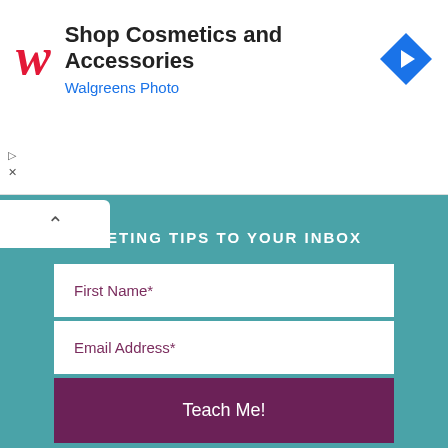[Figure (screenshot): Walgreens advertisement banner with logo, text 'Shop Cosmetics and Accessories', 'Walgreens Photo', and a blue navigation diamond icon]
▷
×
MARKETING TIPS TO YOUR INBOX
First Name*
Email Address*
Teach Me!